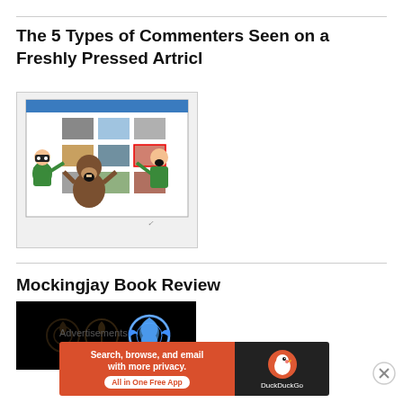The 5 Types of Commenters Seen on a Freshly Pressed Artricl
[Figure (illustration): Cartoon meme illustration showing comic characters interacting with a WordPress Freshly Pressed page on screen]
Mockingjay Book Review
[Figure (photo): Dark image showing three Mockingjay bird symbols, one glowing blue, against black background]
Advertisements
[Figure (infographic): DuckDuckGo advertisement banner: Search, browse, and email with more privacy. All in One Free App. DuckDuckGo logo on dark background.]